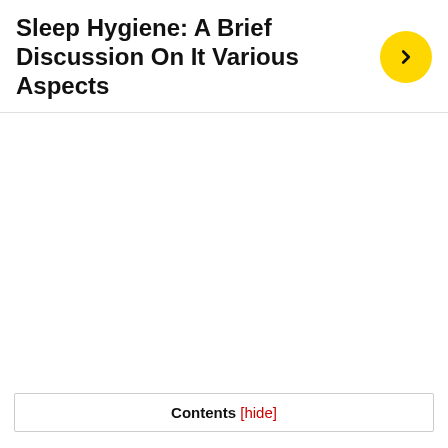Sleep Hygiene: A Brief Discussion On It Various Aspects
Contents [hide]